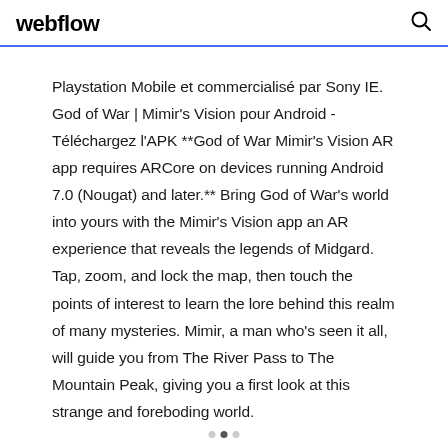webflow
Playstation Mobile et commercialisé par Sony IE. God of War | Mimir's Vision pour Android - Téléchargez l'APK **God of War Mimir's Vision AR app requires ARCore on devices running Android 7.0 (Nougat) and later.** Bring God of War's world into yours with the Mimir's Vision app an AR experience that reveals the legends of Midgard. Tap, zoom, and lock the map, then touch the points of interest to learn the lore behind this realm of many mysteries. Mimir, a man who's seen it all, will guide you from The River Pass to The Mountain Peak, giving you a first look at this strange and foreboding world.